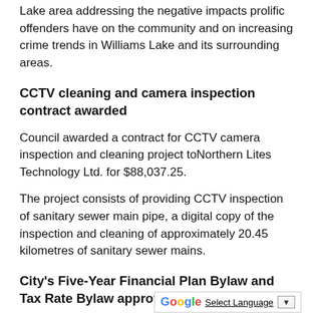Lake area addressing the negative impacts prolific offenders have on the community and on increasing crime trends in Williams Lake and its surrounding areas.
CCTV cleaning and camera inspection contract awarded
Council awarded a contract for CCTV camera inspection and cleaning project toNorthern Lites Technology Ltd. for $88,037.25.
The project consists of providing CCTV inspection of sanitary sewer main pipe, a digital copy of the inspection and cleaning of approximately 20.45 kilometres of sanitary sewer mains.
City's Five-Year Financial Plan Bylaw and Tax Rate Bylaw approved
The City's Five-Year Financial Pl…